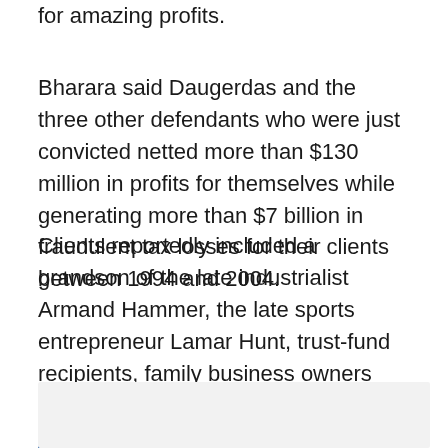for amazing profits.
Bharara said Daugerdas and the three other defendants who were just convicted netted more than $130 million in profits for themselves while generating more than $7 billion in fraudulent tax losses for their clients between 1994 and 2004.
Clients reportedly included a grandson of the late industrialist Armand Hammer, the late sports entrepreneur Lamar Hunt, trust-fund recipients, family business owners and even an early investor in Microsoft Corp. (NASDAQ:MSFT).
[Figure (other): Gray shaded box placeholder area]
The content after from the fraudulent tax payer...